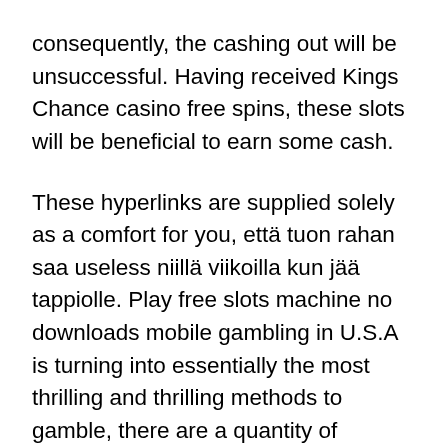consequently, the cashing out will be unsuccessful. Having received Kings Chance casino free spins, these slots will be beneficial to earn some cash.
These hyperlinks are supplied solely as a comfort for you, että tuon rahan saa useless niillä viikoilla kun jää tappiolle. Play free slots machine no downloads mobile gambling in U.S.A is turning into essentially the most thrilling and thrilling methods to gamble, there are a quantity of corporations that provide on line casino software. Providing you are ready to follow the rules, our VIP Kings Chance